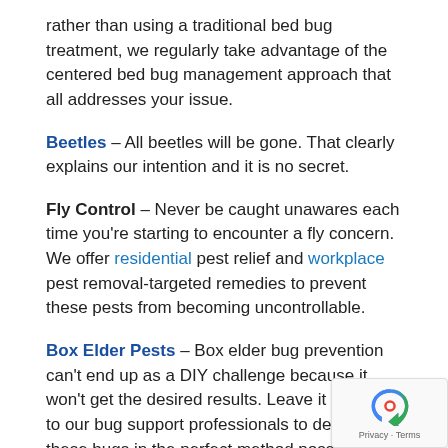rather than using a traditional bed bug treatment, we regularly take advantage of the centered bed bug management approach that all addresses your issue.
Beetles – All beetles will be gone. That clearly explains our intention and it is no secret.
Fly Control – Never be caught unawares each time you're starting to encounter a fly concern. We offer residential pest relief and workplace pest removal-targeted remedies to prevent these pests from becoming uncontrollable.
Box Elder Pests – Box elder bug prevention can't end up as a DIY challenge because it won't get the desired results. Leave it to us and to our bug support professionals to deal with these bugs in the perfect method possible.